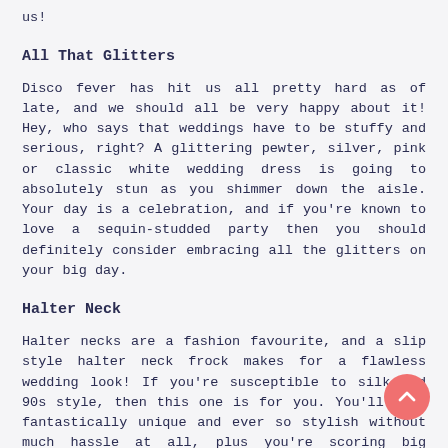us!
All That Glitters
Disco fever has hit us all pretty hard as of late, and we should all be very happy about it! Hey, who says that weddings have to be stuffy and serious, right? A glittering pewter, silver, pink or classic white wedding dress is going to absolutely stun as you shimmer down the aisle. Your day is a celebration, and if you're known to love a sequin-studded party then you should definitely consider embracing all the glitters on your big day.
Halter Neck
Halter necks are a fashion favourite, and a slip style halter neck frock makes for a flawless wedding look! If you're susceptible to silk and 90s style, then this one is for you. You'll look fantastically unique and ever so stylish without much hassle at all, plus you're scoring big comfort for the dance floor. Wear with statement earrings and